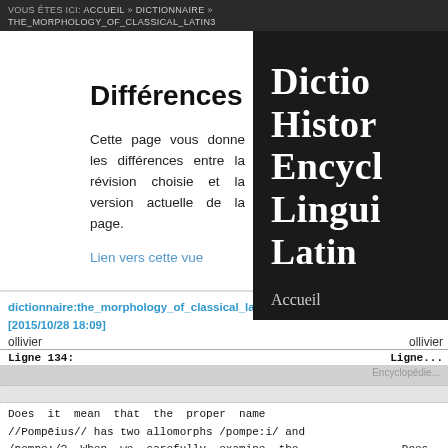Vous êtes ici: accueil » dictionnaire » the_morphology_of_classical_latin3
Différences
Cette page vous donne les différences entre la révision choisie et la version actuelle de la page.
Lien vers cette vue
dictionnaire:the_morphology_of_classical_latin3 dictio... [2015/10/28 18:09]
ollivier
Ligne 134:
Does it mean that the proper name //Pompēius// has two allomorphs /pompe:i/ and /pompe:/?  When we carefully examine the Does...